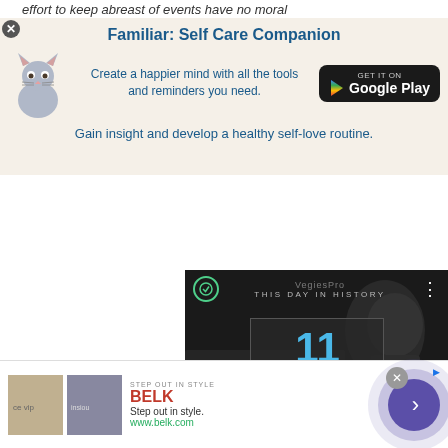effort to keep abreast of events have no moral
[Figure (infographic): Advertisement banner for Familiar: Self Care Companion app with cat illustration and Google Play button]
[Figure (screenshot): Video player showing 'This Day In History' with date display showing 11 AUGUST, video controls including mute, progress bar, and fullscreen buttons]
The oppressors develop a series of methods
[Figure (infographic): Belk advertisement banner showing fashion images, brand name, tagline 'Step out in style.' and website www.belk.com, with navigation arrow button]